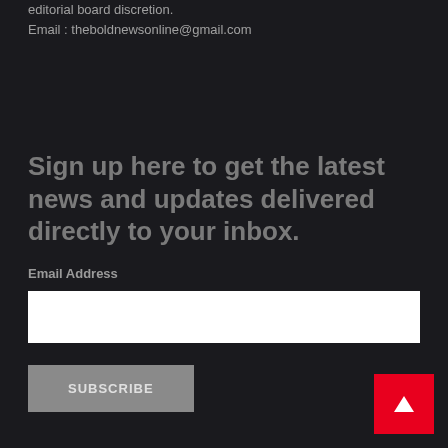editorial board discretion.
Email : theboldnewsonline@gmail.com
Sign up here to get the latest news and updates delivered directly to your inbox.
Email Address
[Figure (other): Email address input text field (white rectangle)]
SUBSCRIBE
[Figure (other): Red back-to-top button with white upward arrow in bottom-right corner]